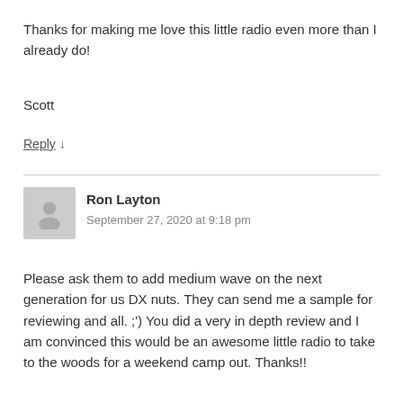Thanks for making me love this little radio even more than I already do!
Scott
Reply ↓
Ron Layton
September 27, 2020 at 9:18 pm
Please ask them to add medium wave on the next generation for us DX nuts. They can send me a sample for reviewing and all. ;') You did a very in depth review and I am convinced this would be an awesome little radio to take to the woods for a weekend camp out. Thanks!!